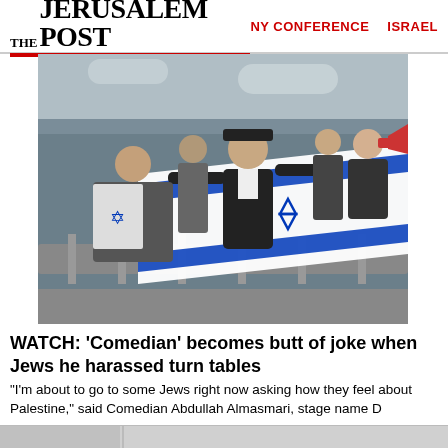THE JERUSALEM POST | NY CONFERENCE | ISRAEL
[Figure (photo): Protesters holding an Israeli flag and signs at what appears to be a street demonstration. A young man in a black hat and jacket is prominently waving the Israeli flag while others hold papers and a megaphone.]
WATCH: 'Comedian' becomes butt of joke when Jews he harassed turn tables
"I'm about to go to some Jews right now asking how they feel about Palestine," said Comedian Abdullah Almasmari, stage name D